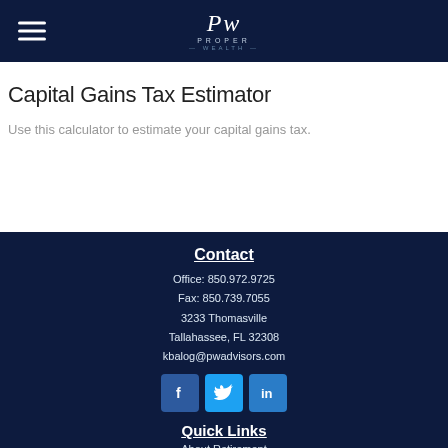Proper Wealth (logo and navigation)
Capital Gains Tax Estimator
Use this calculator to estimate your capital gains tax.
Contact
Office: 850.972.9725
Fax: 850.739.7055
3233 Thomasville
Tallahassee, FL 32308
kbalog@pwadvisors.com
[Figure (infographic): Social media icons: Facebook (f), Twitter (bird), LinkedIn (in)]
Quick Links
About Retirement